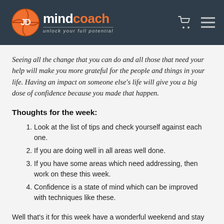JD mindcoach — unlock your full potential
Seeing all the change that you can do and all those that need your help will make you more grateful for the people and things in your life. Having an impact on someone else's life will give you a big dose of confidence because you made that happen.
Thoughts for the week:
Look at the list of tips and check yourself against each one.
If you are doing well in all areas well done.
If you have some areas which need addressing, then work on these this week.
Confidence is a state of mind which can be improved with techniques like these.
Well that's it for this week have a wonderful weekend and stay